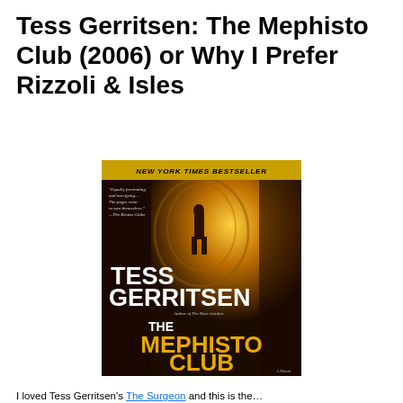Tess Gerritsen: The Mephisto Club (2006) or Why I Prefer Rizzoli & Isles
[Figure (photo): Book cover of 'The Mephisto Club' by Tess Gerritsen. Dark atmospheric cover with golden arched corridor and silhouette of a person. Yellow banner at top reads 'NEW YORK TIMES BESTSELLER'. Author name 'TESS GERRITSEN' in large white letters. Title 'THE MEPHISTO CLUB' in large gold letters at bottom. Labeled 'A Novel'.]
I loved Tess Gerritsen's The Surgeon and this is the…